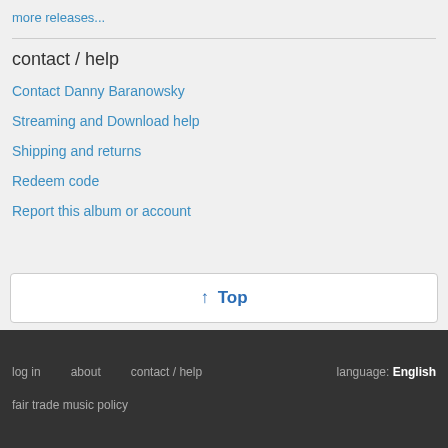more releases...
contact / help
Contact Danny Baranowsky
Streaming and Download help
Shipping and returns
Redeem code
Report this album or account
↑ Top
log in   about   contact / help   language: English   fair trade music policy